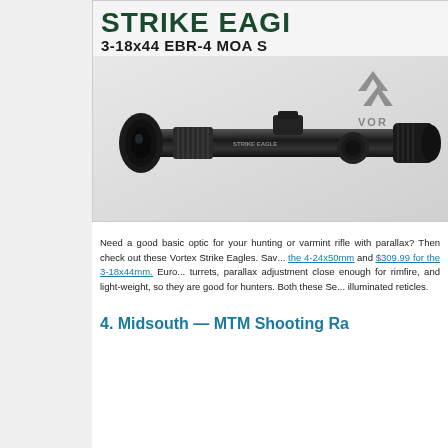[Figure (photo): Product advertisement for Vortex Strike Eagle 3-18x44 EBR-4 MOA scope. Shows the rifle scope on a light background with the Vortex logo visible. Title text reads 'STRIKE EAGLE' in large dark green bold font and '3-18x44 EBR-4 MOA S' in large black bold font.]
Need a good basic optic for your hunting or varmint rifle with parallax? Then check out these Vortex Strike Eagles. Save... the 4-24x50mm and $309.99 for the 3-18x44mm. Euro... turrets, parallax adjustment close enough for rimfire, and light-weight, so they are good for hunters. Both these Se... illuminated reticles.
4. Midsouth — MTM Shooting Ra